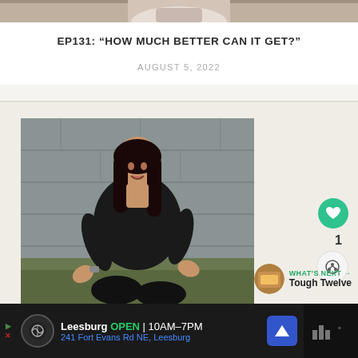[Figure (photo): Cropped top portion of a photo showing hands/torso of a person against a light background]
EP131: “HOW MUCH BETTER CAN IT GET?”
AUGUST 5, 2022
[Figure (photo): A smiling woman with dark hair sitting on grass in front of a gray concrete block wall, wearing a black athletic outfit]
1
WHAT’S NEXT → Tough Twelve
Leesburg  OPEN | 10AM–7PM  241 Fort Evans Rd NE, Leesburg